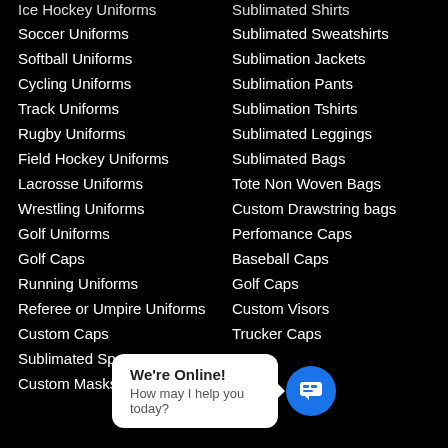Ice Hockey Uniforms (partial)
Sublimated Shirts (partial)
Soccer Uniforms
Sublimated Sweatshirts
Softball Uniforms
Sublimation Jackets
Cycling Uniforms
Sublimation Pants
Track Uniforms
Sublimation Tshirts
Rugby Uniforms
Sublimated Leggings
Field Hockey Uniforms
Sublimated Bags
Lacrosse Uniforms
Tote Non Woven Bags
Wrestling Uniforms
Custom Drawstring bags
Golf Uniforms
Perfomance Caps
Golf Caps
Baseball Caps
Running Uniforms
Golf Caps
Referee or Umpire Uniforms
Custom Visors
Custom Caps
Trucker Caps
Sublimated Sportswear
Custom Masks
We're Online! How may I help you today?